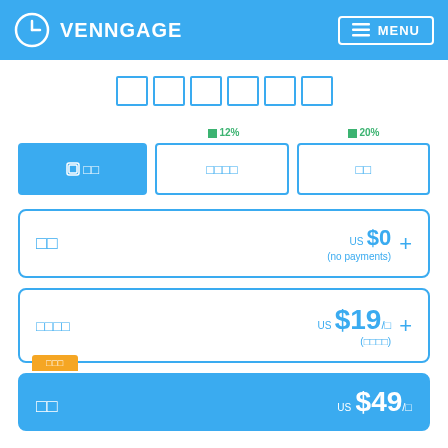VENNGAGE | MENU
□□□□□□
□ 12% □ 20%
□□ | □□□□ | □□ (tabs)
| Plan | Price | Note |
| --- | --- | --- |
| □□ | US $0 | (no payments) |
| □□□□ | US $19/□ | (□□□□) |
| □□ | US $49/□ |  |
□□□ (best badge)